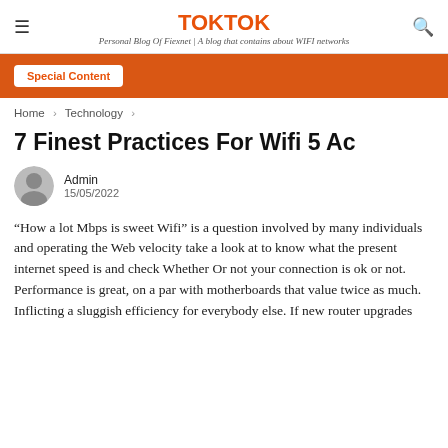TOKTOK
Personal Blog Of Fiexnet | A blog that contains about WIFI networks
[Figure (infographic): Orange banner with Special Content button]
Home > Technology >
7 Finest Practices For Wifi 5 Ac
Admin
15/05/2022
“How a lot Mbps is sweet Wifi” is a question involved by many individuals and operating the Web velocity take a look at to know what the present internet speed is and check Whether Or not your connection is ok or not. Performance is great, on a par with motherboards that value twice as much. Inflicting a sluggish efficiency for everybody else. If new router upgrades